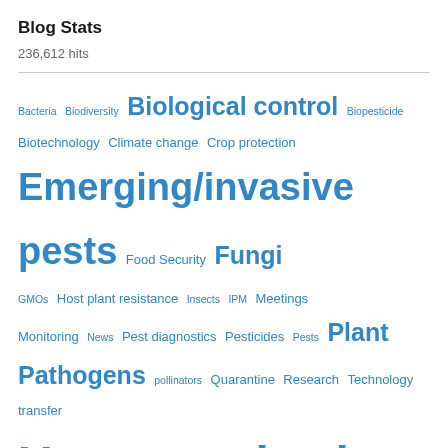Blog Stats
236,612 hits
[Figure (infographic): Tag cloud with blog category links in varying font sizes indicating frequency. Tags: Bacteria, Biodiversity, Biological control (large), Biopesticide, Biotechnology, Climate change, Crop protection, Emerging/invasive pests (very large), Food Security, Fungi (large), GMOs, Host plant resistance, Insects, IPM, Meetings, Monitoring, News, Pest diagnostics, Pesticides, Pests, Plant Pathogens (large), pollinators, Quarantine, Research, Technology transfer, Uncategorized (largest), Viruses, Weeds]
Follow Blog via Email